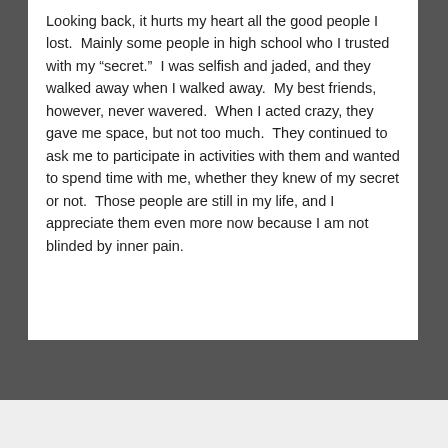Looking back, it hurts my heart all the good people I lost.  Mainly some people in high school who I trusted with my “secret.”  I was selfish and jaded, and they walked away when I walked away.  My best friends, however, never wavered.  When I acted crazy, they gave me space, but not too much.  They continued to ask me to participate in activities with them and wanted to spend time with me, whether they knew of my secret or not.  Those people are still in my life, and I appreciate them even more now because I am not blinded by inner pain.
Privacy & Cookies: This site uses cookies. By continuing to use this website, you agree to their use.
To find out more, including how to control cookies, see here: Cookie Policy
Close and accept